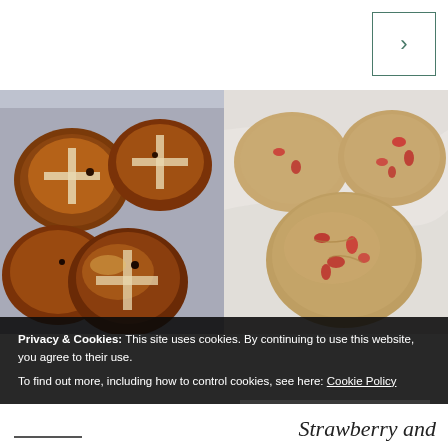[Figure (other): Navigation arrow button (right chevron) in teal/dark green outlined box, top right corner]
[Figure (photo): Left photo: Hot cross buns on a metal tray, golden-brown and darkly toasted, with white cross markings]
[Figure (photo): Right photo: Strawberry cookies on a marble surface, light tan/oat colored with visible red strawberry pieces]
Privacy & Cookies: This site uses cookies. By continuing to use this website, you agree to their use.
To find out more, including how to control cookies, see here: Cookie Policy
Close and accept
Strawberry and